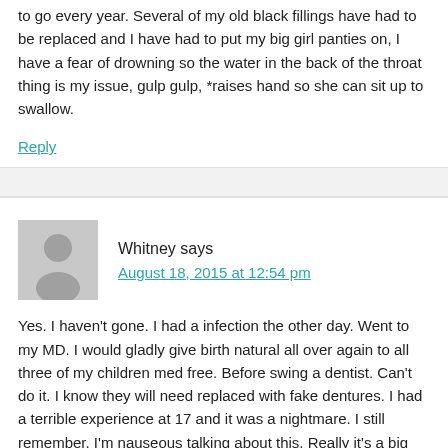to go every year. Several of my old black fillings have had to be replaced and I have had to put my big girl panties on, I have a fear of drowning so the water in the back of the throat thing is my issue, gulp gulp, *raises hand so she can sit up to swallow.
Reply
Whitney says
August 18, 2015 at 12:54 pm
Yes. I haven't gone. I had a infection the other day. Went to my MD. I would gladly give birth natural all over again to all three of my children med free. Before swing a dentist. Can't do it. I know they will need replaced with fake dentures. I had a terrible experience at 17 and it was a nightmare. I still remember. I'm nauseous talking about this. Really it's a big phobia for me. I have taken a Valium prescribed prior to going for X rays. I to